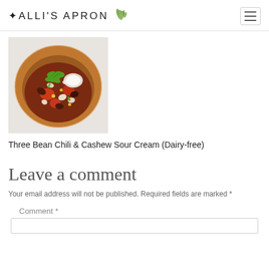ALLI'S APRON
[Figure (photo): A wooden bowl filled with three bean chili topped with fresh cilantro and cashew sour cream]
Three Bean Chili & Cashew Sour Cream (Dairy-free)
Leave a comment
Your email address will not be published. Required fields are marked *
Comment *